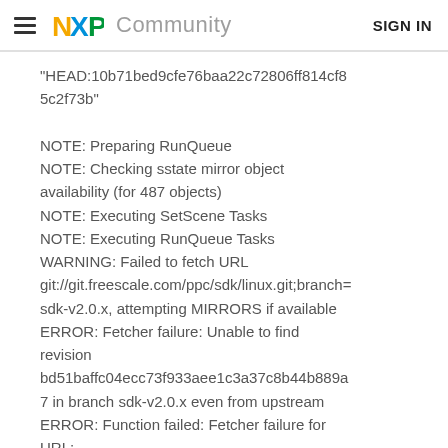NXP Community   SIGN IN
"HEAD:10b71bed9cfe76baa22c72806ff814cf85c2f73b"

NOTE: Preparing RunQueue
NOTE: Checking sstate mirror object availability (for 487 objects)
NOTE: Executing SetScene Tasks
NOTE: Executing RunQueue Tasks
WARNING: Failed to fetch URL git://git.freescale.com/ppc/sdk/linux.git;branch=sdk-v2.0.x, attempting MIRRORS if available
ERROR: Fetcher failure: Unable to find revision bd51baffc04ecc73f933aee1c3a37c8b44b889a7 in branch sdk-v2.0.x even from upstream
ERROR: Function failed: Fetcher failure for URL:
'git://git.freescale.com/ppc/sdk/linux.git;branch